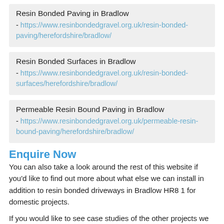Resin Bonded Paving in Bradlow - https://www.resinbondedgravel.org.uk/resin-bonded-paving/herefordshire/bradlow/
Resin Bonded Surfaces in Bradlow - https://www.resinbondedgravel.org.uk/resin-bonded-surfaces/herefordshire/bradlow/
Permeable Resin Bound Paving in Bradlow - https://www.resinbondedgravel.org.uk/permeable-resin-bound-paving/herefordshire/bradlow/
Enquire Now
You can also take a look around the rest of this website if you'd like to find out more about what else we can install in addition to resin bonded driveways in Bradlow HR8 1 for domestic projects.
If you would like to see case studies of the other projects we have